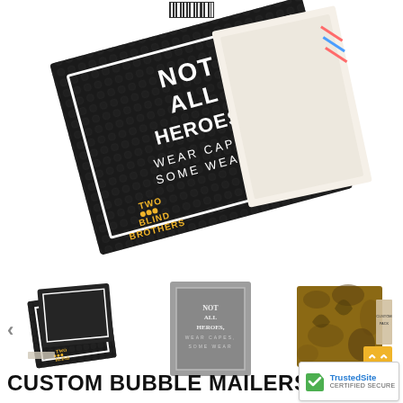[Figure (photo): Black bubble mailer envelopes with 'NOT ALL HEROES WEAR CAPES, SOME WEAR' text and 'TWO BLIND BROTHERS' branding in yellow, photographed at an angle on white background]
[Figure (photo): Small black bubble mailers with hero branding, shown as thumbnail]
[Figure (photo): Gray/silver flat mailer with hero text branding, shown as thumbnail]
[Figure (photo): Brown kraft/camo pattern bubble mailer, shown as thumbnail]
CUSTOM BUBBLE MAILERS LO